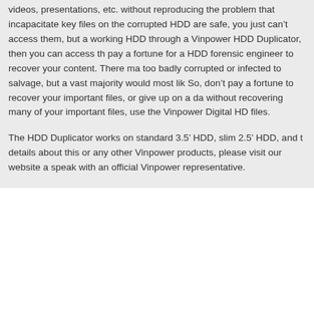videos, presentations, etc. without reproducing the problem that incapacitate key files on the corrupted HDD are safe, you just can’t access them, but a working HDD through a Vinpower HDD Duplicator, then you can access th pay a fortune for a HDD forensic engineer to recover your content. There ma too badly corrupted or infected to salvage, but a vast majority would most lik So, don’t pay a fortune to recover your important files, or give up on a da without recovering many of your important files, use the Vinpower Digital HD files.
The HDD Duplicator works on standard 3.5’ HDD, slim 2.5’ HDD, and t details about this or any other Vinpower products, please visit our website a speak with an official Vinpower representative.